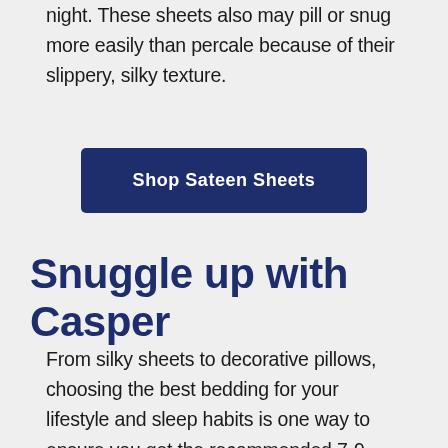night. These sheets also may pill or snug more easily than percale because of their slippery, silky texture.
[Figure (other): Button labeled 'Shop Sateen Sheets' with dark navy blue background and white bold text]
Snuggle up with Casper
From silky sheets to decorative pillows, choosing the best bedding for your lifestyle and sleep habits is one way to ensure you get the recommended 7-9 hours of sleep a night2. If you're tugging at your sheets or find that washing them once a week has